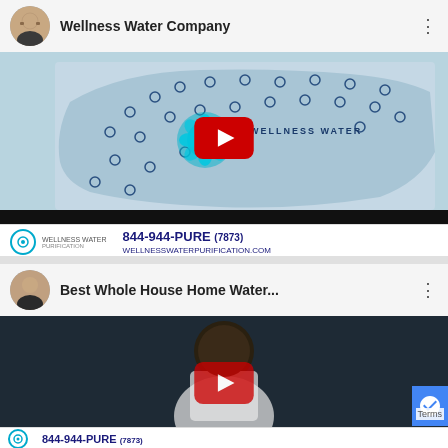[Figure (screenshot): YouTube video thumbnail for 'Wellness Water Company' showing a US map with location dots and Wellness Water branding, with a red YouTube play button overlay. Video header shows channel avatar and title. Footer shows 844-944-PURE (7873) and WELLNESSWATERPURIFICATION.COM]
[Figure (screenshot): YouTube video thumbnail for 'Best Whole House Home Water...' showing a dark video frame with a person in a white jacket and a red YouTube play button overlay. Footer shows 844-944-PURE and partial Terms label. reCAPTCHA badge visible on right.]